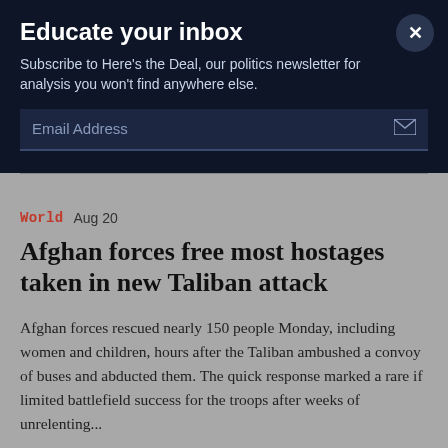Educate your inbox
Subscribe to Here's the Deal, our politics newsletter for analysis you won't find anywhere else.
Email Address
World  Aug 20
Afghan forces free most hostages taken in new Taliban attack
Afghan forces rescued nearly 150 people Monday, including women and children, hours after the Taliban ambushed a convoy of buses and abducted them. The quick response marked a rare if limited battlefield success for the troops after weeks of unrelenting...